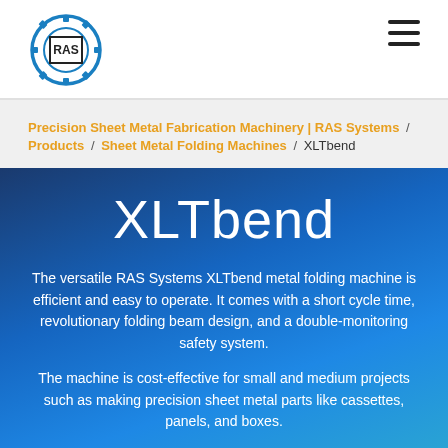[Figure (logo): RAS Systems gear logo with 'RAS' text in a square, in blue and black]
RAS Systems navigation header with logo and hamburger menu
Precision Sheet Metal Fabrication Machinery | RAS Systems / Products / Sheet Metal Folding Machines / XLTbend
XLTbend
The versatile RAS Systems XLTbend metal folding machine is efficient and easy to operate. It comes with a short cycle time, revolutionary folding beam design, and a double-monitoring safety system.
The machine is cost-effective for small and medium projects such as making precision sheet metal parts like cassettes, panels, and boxes.